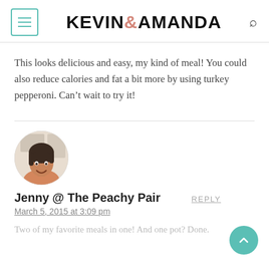KEVIN & AMANDA
This looks delicious and easy, my kind of meal! You could also reduce calories and fat a bit more by using turkey pepperoni. Can't wait to try it!
[Figure (photo): Circular avatar photo of a woman with short dark hair, smiling, in a kitchen setting.]
Jenny @ The Peachy Pair
March 5, 2015 at 3:09 pm
Two of my favorite meals in one! And one pot? Done.